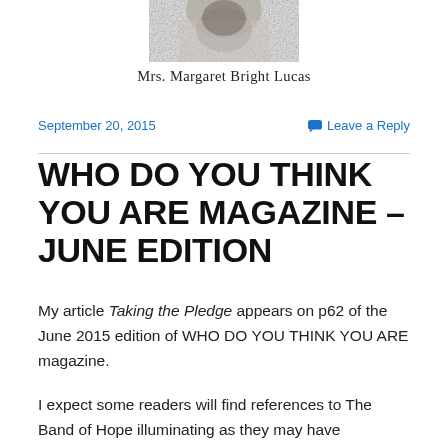[Figure (photo): Partial grayscale portrait photo of Mrs. Margaret Bright Lucas, cropped at top showing only the lower portion of the image]
Mrs. Margaret Bright Lucas
September 20, 2015
Leave a Reply
WHO DO YOU THINK YOU ARE MAGAZINE – JUNE EDITION
My article Taking the Pledge appears on p62 of the June 2015 edition of WHO DO YOU THINK YOU ARE magazine.
I expect some readers will find references to The Band of Hope illuminating as they may have uncovered